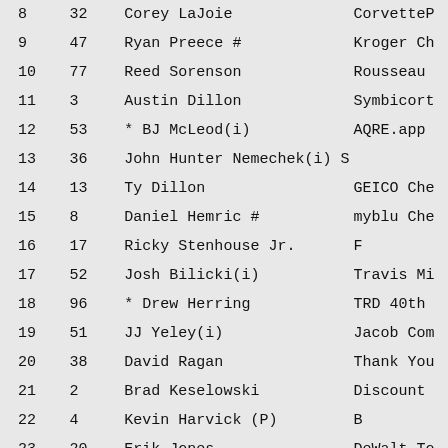| Pos | Car | Driver | Sponsor |
| --- | --- | --- | --- |
| 8 | 32 | Corey LaJoie | CorvetteP |
| 9 | 47 | Ryan Preece # | Kroger Ch |
| 10 | 77 | Reed Sorenson | Rousseau |
| 11 | 3 | Austin Dillon | Symbicort |
| 12 | 53 | * BJ McLeod(i) | AQRE.app |
| 13 | 36 | John Hunter Nemechek(i) | S |
| 14 | 13 | Ty Dillon | GEICO Che |
| 15 | 8 | Daniel Hemric # | myblu Che |
| 16 | 17 | Ricky Stenhouse Jr. | F |
| 17 | 52 | Josh Bilicki(i) | Travis Mi |
| 18 | 96 | * Drew Herring | TRD 40th |
| 19 | 51 | JJ Yeley(i) | Jacob Com |
| 20 | 38 | David Ragan | Thank You |
| 21 | 2 | Brad Keselowski | Discount |
| 22 | 4 | Kevin Harvick (P) | B |
| 23 | 20 | Erik Jones | DeWalt To |